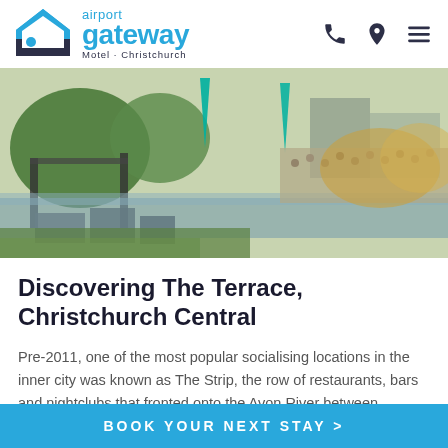[Figure (logo): Airport Gateway Motel Christchurch logo with house/roof icon in blue and dark navy text]
[Figure (photo): Outdoor event/concert along the Avon River in Christchurch Central, with a crowd, stage, green trees and teal banners]
Discovering The Terrace, Christchurch Central
Pre-2011, one of the most popular socialising locations in the inner city was known as The Strip, the row of restaurants, bars and nightclubs that fronted onto the Avon River between Hereford and Cashel Streets.
BOOK YOUR NEXT STAY >